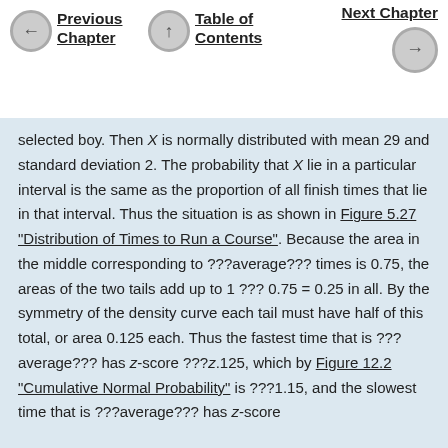Previous Chapter | Table of Contents | Next Chapter
selected boy. Then X is normally distributed with mean 29 and standard deviation 2. The probability that X lie in a particular interval is the same as the proportion of all finish times that lie in that interval. Thus the situation is as shown in Figure 5.27 "Distribution of Times to Run a Course". Because the area in the middle corresponding to ???average??? times is 0.75, the areas of the two tails add up to 1 ??? 0.75 = 0.25 in all. By the symmetry of the density curve each tail must have half of this total, or area 0.125 each. Thus the fastest time that is ???average??? has z-score ???z.125, which by Figure 12.2 "Cumulative Normal Probability" is ???1.15, and the slowest time that is ???average??? has z-score